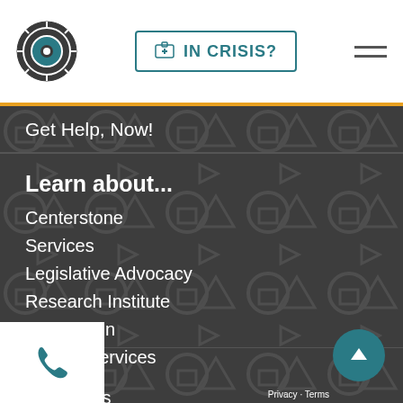[Figure (logo): Centerstone logo: circular emblem with teal/dark ring and center dot]
IN CRISIS?
[Figure (other): Hamburger menu icon (three horizontal lines)]
Get Help, Now!
Learn about...
Centerstone
Services
Legislative Advocacy
Research Institute
Foundation
Military Services
Careers
d our...
s & Events
Publications
Annual Report